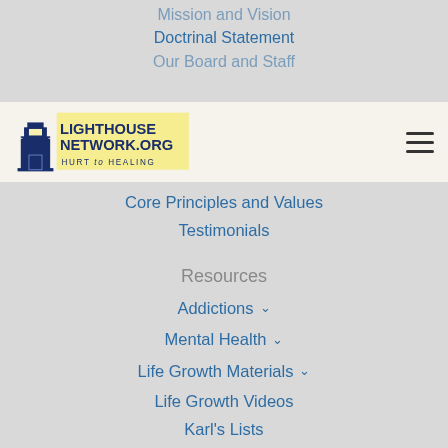Mission and Vision
Doctrinal Statement
Our Board and Staff
[Figure (logo): Lighthouse Network.org Hurt to Healing logo with lighthouse icon]
Core Principles and Values
Testimonials
Resources
Addictions
Mental Health
Life Growth Materials
Life Growth Videos
Karl's Lists
Social Policy
Assessment Tools